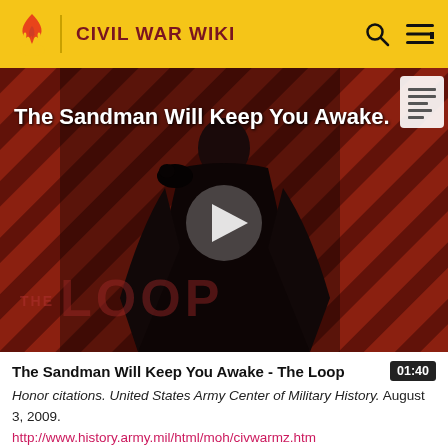CIVIL WAR WIKI
[Figure (screenshot): Video thumbnail showing a dark figure in a cape with raven, diagonal striped background in red/brown tones, play button overlay, 'THE LOOP' watermark, and title text 'The Sandman Will Keep You Awake.']
The Sandman Will Keep You Awake - The Loop
Honor citations. United States Army Center of Military History. August 3, 2009. http://www.history.army.mil/html/moh/civwarmz.html. Retrieved July 1, 2010.